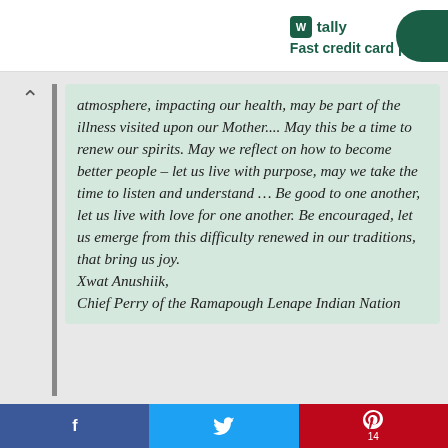tally — Fast credit card payoff
atmosphere, impacting our health, may be part of the illness visited upon our Mother.... May this be a time to renew our spirits. May we reflect on how to become better people – let us live with purpose, may we take the time to listen and understand … Be good to one another, let us live with love for one another. Be encouraged, let us emerge from this difficulty renewed in our traditions, that bring us joy.
Xwat Anushiik,
Chief Perry of the Ramapough Lenape Indian Nation
Facebook  Twitter  Pinterest 14